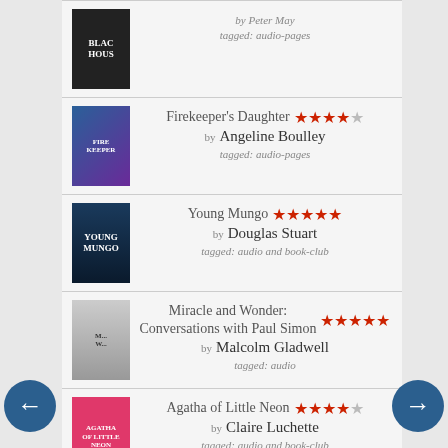by Peter May | tagged: audio-pages
Firekeeper's Daughter ★★★★½ by Angeline Boulley | tagged: audio-pages
Young Mungo ★★★★★ by Douglas Stuart | tagged: audio and book-club
Miracle and Wonder: Conversations with Paul Simon ★★★★★ by Malcolm Gladwell | tagged: audio
Agatha of Little Neon ★★★★½ by Claire Luchette | tagged: audio and book-club
The Storyteller: Tales of Life and Music ★★★★★ by Dave Grohl | I loved listening to Dave Grohl tell his tales! I'm not even particularly a fan of